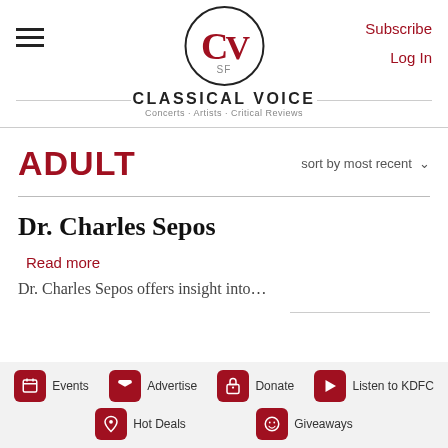[Figure (logo): Classical Voice SF logo — CV letters in red circle with 'SF' below, 'CLASSICAL VOICE' text, 'Concerts · Artists · Critical Reviews' tagline]
Subscribe  Log In
ADULT
sort by most recent
Dr. Charles Sepos
Read more
Dr. Charles Sepos offers insight into…
Events  Advertise  Donate  Listen to KDFC  Hot Deals  Giveaways